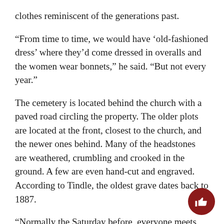clothes reminiscent of the generations past.
“From time to time, we would have ‘old-fashioned dress’ where they’d come dressed in overalls and the women wear bonnets,” he said. “But not every year.”
The cemetery is located behind the church with a paved road circling the property. The older plots are located at the front, closest to the church, and the newer ones behind. Many of the headstones are weathered, crumbling and crooked in the ground. A few are even hand-cut and engraved. According to Tindle, the oldest grave dates back to 1887.
“Normally the Saturday before, everyone meets for a workday to trim hedges, put out flowers and pretty much clean up [the area],” he said. “It used to be called ‘dinner on the ground,’ and people sat outside. Now we eat inside.”
[Figure (illustration): A dark red circular thumbs-up icon in the bottom right corner]